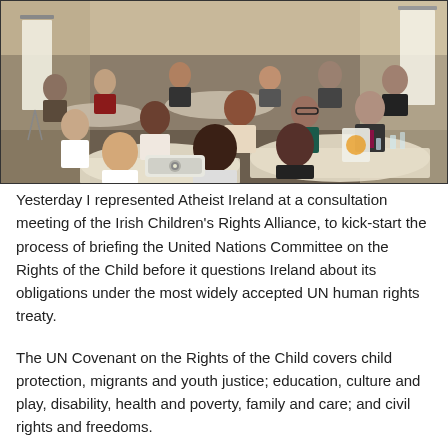[Figure (photo): A consultation meeting room with many people seated at round tables covered with cream tablecloths. A projector is visible in the foreground. Participants appear engaged in discussion. A flipchart stands near the left wall. The setting is a hotel or conference room.]
Yesterday I represented Atheist Ireland at a consultation meeting of the Irish Children's Rights Alliance, to kick-start the process of briefing the United Nations Committee on the Rights of the Child before it questions Ireland about its obligations under the most widely accepted UN human rights treaty.
The UN Covenant on the Rights of the Child covers child protection, migrants and youth justice; education, culture and play, disability, health and poverty, family and care; and civil rights and freedoms.